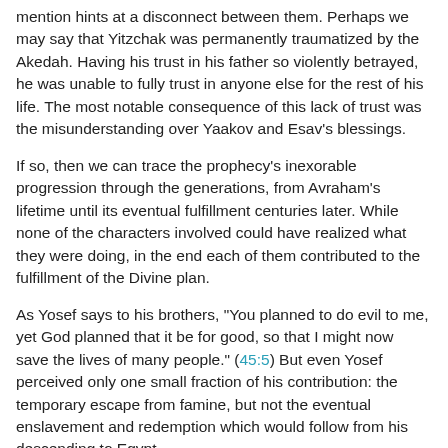mention hints at a disconnect between them. Perhaps we may say that Yitzchak was permanently traumatized by the Akedah. Having his trust in his father so violently betrayed, he was unable to fully trust in anyone else for the rest of his life. The most notable consequence of this lack of trust was the misunderstanding over Yaakov and Esav's blessings.
If so, then we can trace the prophecy's inexorable progression through the generations, from Avraham's lifetime until its eventual fulfillment centuries later. While none of the characters involved could have realized what they were doing, in the end each of them contributed to the fulfillment of the Divine plan.
As Yosef says to his brothers, "You planned to do evil to me, yet God planned that it be for good, so that I might now save the lives of many people." (45:5) But even Yosef perceived only one small fraction of his contribution: the temporary escape from famine, but not the eventual enslavement and redemption which would follow from his descending to Egypt.
This is the book of generations of man: When God